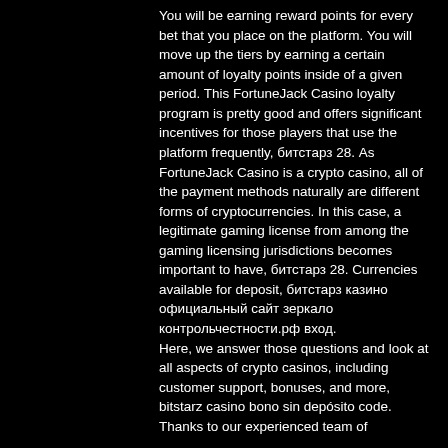You will be earning reward points for every bet that you place on the platform. You will move up the tiers by earning a certain amount of loyalty points inside of a given period. This FortuneJack Casino loyalty program is pretty good and offers significant incentives for those players that use the platform frequently, битстарз 28. As FortuneJack Casino is a crypto casino, all of the payment methods naturally are different forms of cryptocurrencies. In this case, a legitimate gaming license from among the gaming licensing jurisdictions becomes important to have, битстарз 28. Currencies available for deposit, битстарз казино официальный сайт зеркало контрольчестности.рф вход.
Here, we answer those questions and look at all aspects of crypto casinos, including customer support, bonuses, and more, bitstarz casino bono sin depósito code.
Thanks to our experienced team of